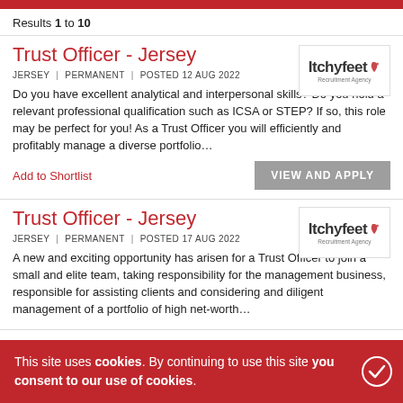Results 1 to 10
Trust Officer - Jersey
JERSEY | PERMANENT | POSTED 12 AUG 2022
Do you have excellent analytical and interpersonal skills? Do you hold a relevant professional qualification such as ICSA or STEP? If so, this role may be perfect for you! As a Trust Officer you will efficiently and profitably manage a diverse portfolio...
Add to Shortlist
Trust Officer - Jersey
JERSEY | PERMANENT | POSTED 17 AUG 2022
A new and exciting opportunity has arisen for a Trust Officer to join a small and elite team, taking responsibility for the management business, responsible for assisting clients and considering and diligent management of a portfolio of high net-worth...
This site uses cookies. By continuing to use this site you consent to our use of cookies.